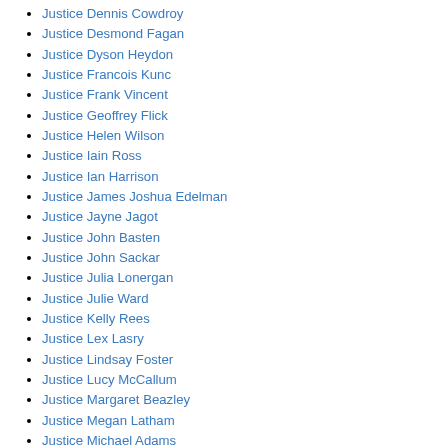Justice Dennis Cowdroy
Justice Desmond Fagan
Justice Dyson Heydon
Justice Francois Kunc
Justice Frank Vincent
Justice Geoffrey Flick
Justice Helen Wilson
Justice Iain Ross
Justice Ian Harrison
Justice James Joshua Edelman
Justice Jayne Jagot
Justice John Basten
Justice John Sackar
Justice Julia Lonergan
Justice Julie Ward
Justice Kelly Rees
Justice Lex Lasry
Justice Lindsay Foster
Justice Lucy McCallum
Justice Margaret Beazley
Justice Megan Latham
Justice Michael Adams
Justice Michael McHugh
Justice Michael Moore
Justice Michael Pembroke
Justice Michael Wigney
Justice Michelle Gordon